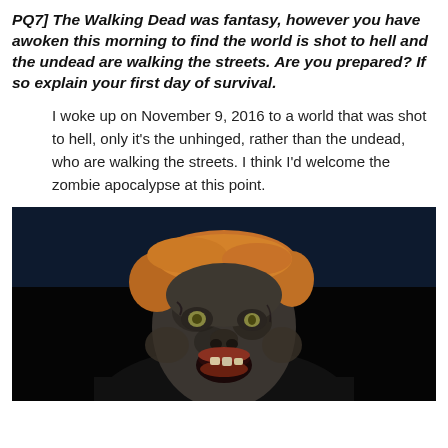PQ7] The Walking Dead was fantasy, however you have awoken this morning to find the world is shot to hell and the undead are walking the streets. Are you prepared? If so explain your first day of survival.
I woke up on November 9, 2016 to a world that was shot to hell, only it’s the unhinged, rather than the undead, who are walking the streets. I think I’d welcome the zombie apocalypse at this point.
[Figure (photo): A zombie-edited photo of a man with orange hair, mouth agape, dark rotting skin makeup applied to his face, against a dark background.]